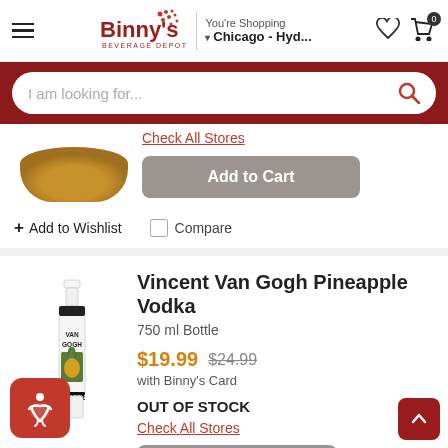Binny's Beverage Depot — You're Shopping Chicago - Hyd...
[Figure (screenshot): Search bar with placeholder 'I am looking for...' and red search icon]
[Figure (photo): Partial product image showing bottom of a bottle/bowl, with Check All Stores link and Add to Cart button]
Check All Stores
Add to Cart
+ Add to Wishlist
Compare
Vincent Van Gogh Pineapple Vodka
750 ml Bottle
$19.99  $24.99
with Binny's Card
OUT OF STOCK
Check All Stores